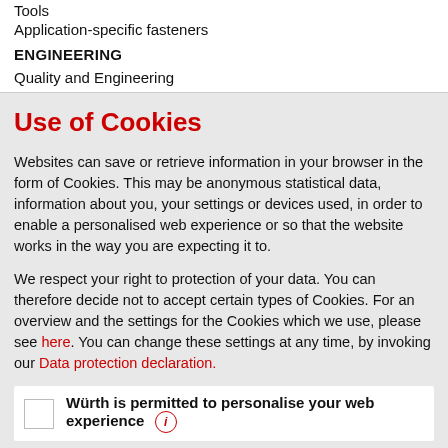Tools
Application-specific fasteners
ENGINEERING
Quality and Engineering
Use of Cookies
Websites can save or retrieve information in your browser in the form of Cookies. This may be anonymous statistical data, information about you, your settings or devices used, in order to enable a personalised web experience or so that the website works in the way you are expecting it to.
We respect your right to protection of your data. You can therefore decide not to accept certain types of Cookies. For an overview and the settings for the Cookies which we use, please see here. You can change these settings at any time, by invoking our Data protection declaration.
Würth is permitted to personalise your web experience
By saving, you confirm that you have understood the settings specified for Cookies and that you agree with them.